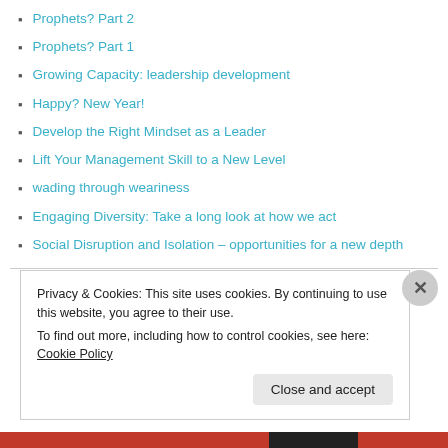Prophets? Part 2
Prophets? Part 1
Growing Capacity: leadership development
Happy? New Year!
Develop the Right Mindset as a Leader
Lift Your Management Skill to a New Level
wading through weariness
Engaging Diversity: Take a long look at how we act
Social Disruption and Isolation – opportunities for a new depth
Privacy & Cookies: This site uses cookies. By continuing to use this website, you agree to their use. To find out more, including how to control cookies, see here: Cookie Policy
Close and accept